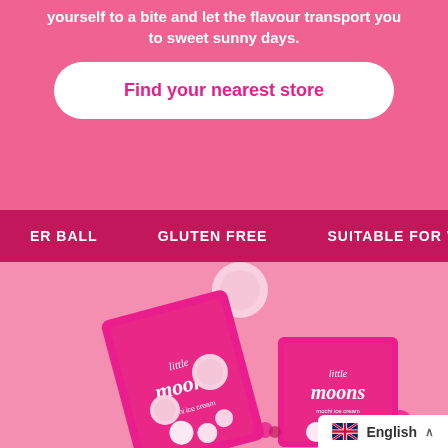yourself to a bite and let the flavour transport you to sweet sunny days.
Find your nearest store
ER BALL   GLUTEN FREE   SUITABLE FOR VEGETAR
[Figure (photo): Little Moons mochi ice cream product boxes on pink background, with white mochi balls and raspberries]
English